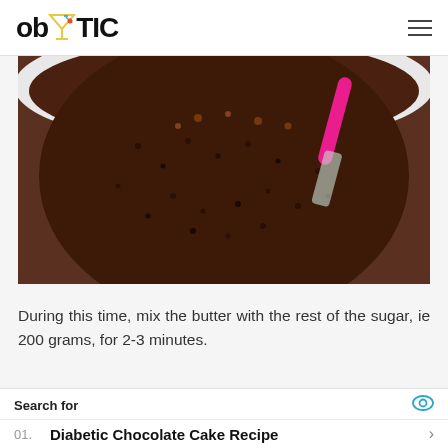ob TIC
[Figure (photo): Close-up of a white bowl containing a dark chocolate mixture (batter or ganache) with chia seeds and a pink-handled spatula or spoon stirring the mixture.]
During this time, mix the butter with the rest of the sugar, ie 200 grams, for 2-3 minutes.
[Figure (photo): Partial view of a second food photo showing a green/yellow baked item.]
Search for
01. Diabetic Chocolate Cake Recipe
02. Lemon Cream Cake Recipe
Yahoo! Search | Sponsored